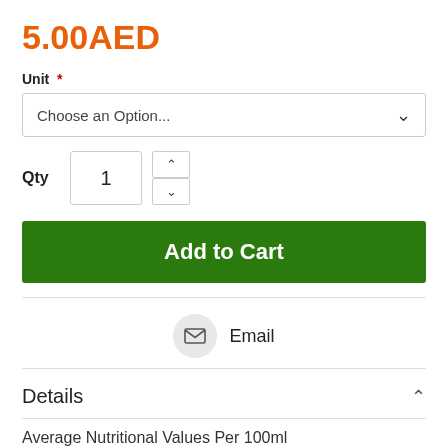5.00AED
Unit *
Choose an Option...
Qty  1
Add to Cart
Email
Details
Average Nutritional Values Per 100ml